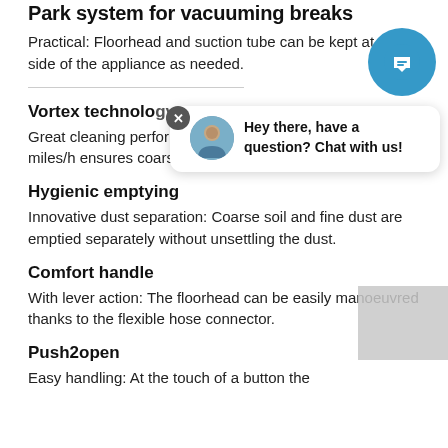Park system for vacuuming breaks
Practical: Floorhead and suction tube can be kept at the side of the appliance as needed.
[Figure (screenshot): Live chat widget with blue circular chat button (top right) and chat bubble popup showing avatar photo and text 'Hey there, have a question? Chat with us!' with close button]
Vortex technology
Great cleaning performance: Air flow of more than 62 miles/h ensures coarse and fine dust is collected perfectly.
Hygienic emptying
Innovative dust separation: Coarse soil and fine dust are emptied separately without unsettling the dust.
Comfort handle
With lever action: The floorhead can be easily manoeuvred thanks to the flexible hose connector.
Push2open
Easy handling: At the touch of a button the